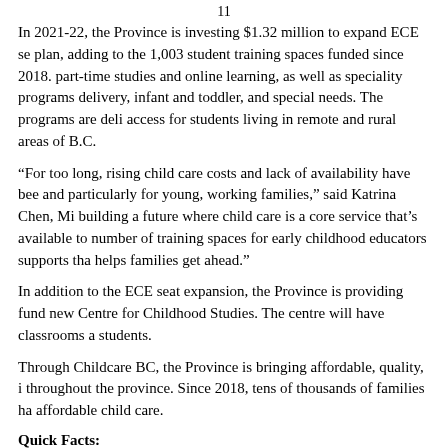11
In 2021-22, the Province is investing $1.32 million to expand ECE se plan, adding to the 1,003 student training spaces funded since 2018. part-time studies and online learning, as well as speciality programs delivery, infant and toddler, and special needs. The programs are deli access for students living in remote and rural areas of B.C.
“For too long, rising child care costs and lack of availability have bee and particularly for young, working families,” said Katrina Chen, Mi building a future where child care is a core service that’s available to number of training spaces for early childhood educators supports tha helps families get ahead.”
In addition to the ECE seat expansion, the Province is providing fund new Centre for Childhood Studies. The centre will have classrooms a students.
Through Childcare BC, the Province is bringing affordable, quality, i throughout the province. Since 2018, tens of thousands of families ha affordable child care.
Quick Facts:
ECEs help shape learning experiences for children from birth t brain development occurs.
In addition to this, making investments since 2018, s t...